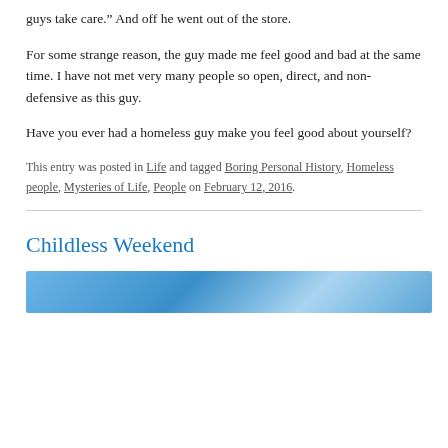guys take care.” And off he went out of the store.
For some strange reason, the guy made me feel good and bad at the same time. I have not met very many people so open, direct, and non-defensive as this guy.
Have you ever had a homeless guy make you feel good about yourself?
This entry was posted in Life and tagged Boring Personal History, Homeless people, Mysteries of Life, People on February 12, 2016.
Childless Weekend
[Figure (photo): Blurry blue-toned photo at the bottom of the page]